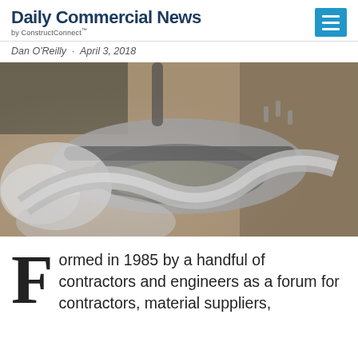Daily Commercial News by ConstructConnect
Dan O'Reilly · April 3, 2018
[Figure (photo): Close-up black and white photo of a worker's gloved hands handling a curved pipe or auger in construction/industrial setting]
Formed in 1985 by a handful of contractors and engineers as a forum for contractors, material suppliers,